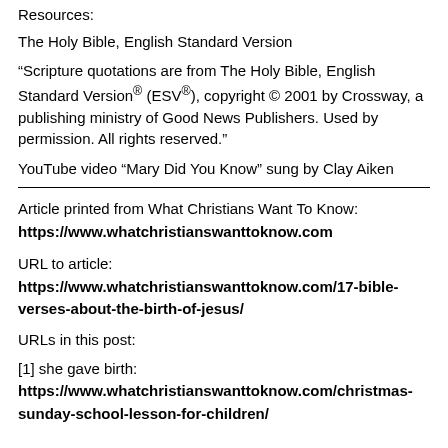Resources:
The Holy Bible, English Standard Version
“Scripture quotations are from The Holy Bible, English Standard Version® (ESV®), copyright © 2001 by Crossway, a publishing ministry of Good News Publishers. Used by permission. All rights reserved.”
YouTube video “Mary Did You Know” sung by Clay Aiken
Article printed from What Christians Want To Know:
https://www.whatchristianswanttoknow.com
URL to article: https://www.whatchristianswanttoknow.com/17-bible-verses-about-the-birth-of-jesus/
URLs in this post:
[1] she gave birth:
https://www.whatchristianswanttoknow.com/christmas-sunday-school-lesson-for-children/